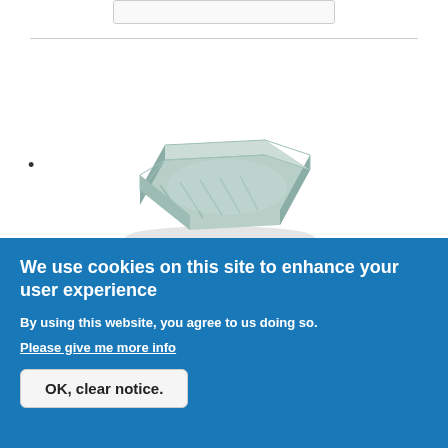[Figure (photo): Aluminum foil tray - smooth-wall double portion ribbed heat-sealable container, viewed from above at an angle]
•
Product Code: AL77R
Smooth-wall double portion, ribbed heat-sealable container, for ready to cook roast meat, chicken or fish.
We use cookies on this site to enhance your user experience
By using this website, you agree to us doing so.
Please give me more info
OK, clear notice.